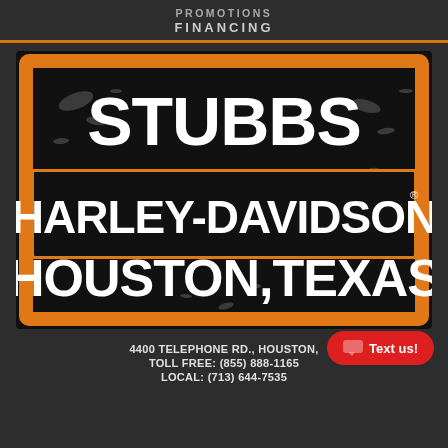PROMOTIONS
FINANCING
[Figure (logo): Stubbs Harley-Davidson Houston Texas dealership logo with orange bar frame on black distressed background]
4400 TELEPHONE RD., HOUSTON,
TOLL FREE: (855) 888-1165
LOCAL: (713) 644-7535